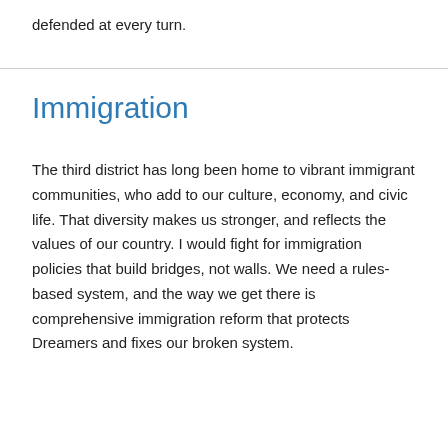defended at every turn.
Immigration
The third district has long been home to vibrant immigrant communities, who add to our culture, economy, and civic life. That diversity makes us stronger, and reflects the values of our country. I would fight for immigration policies that build bridges, not walls. We need a rules-based system, and the way we get there is comprehensive immigration reform that protects Dreamers and fixes our broken system.